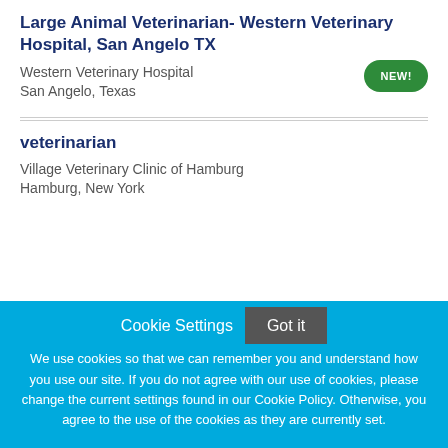Large Animal Veterinarian- Western Veterinary Hospital, San Angelo TX
Western Veterinary Hospital
San Angelo, Texas
veterinarian
Village Veterinary Clinic of Hamburg
Hamburg, New York
Cookie Settings
Got it
We use cookies so that we can remember you and understand how you use our site. If you do not agree with our use of cookies, please change the current settings found in our Cookie Policy. Otherwise, you agree to the use of the cookies as they are currently set.